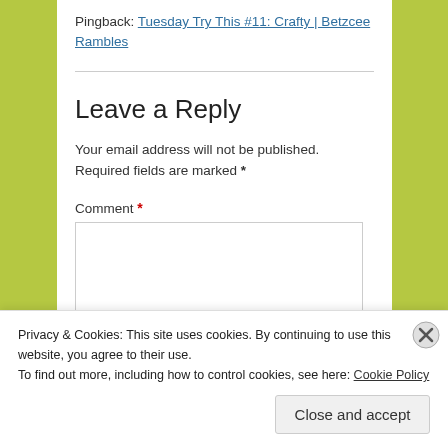Pingback: Tuesday Try This #11: Crafty | Betzcee Rambles
Leave a Reply
Your email address will not be published. Required fields are marked *
Comment *
Privacy & Cookies: This site uses cookies. By continuing to use this website, you agree to their use.
To find out more, including how to control cookies, see here: Cookie Policy
Close and accept